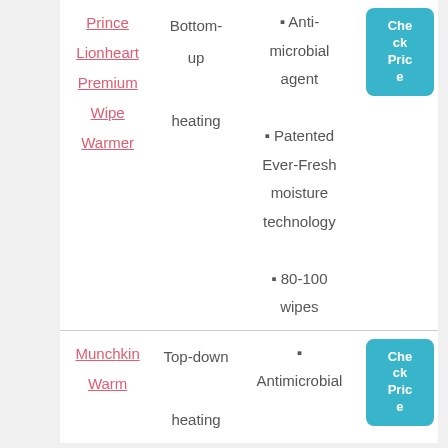| Product | Heating | Features |  |
| --- | --- | --- | --- |
| Prince Lionheart Premium Wipe Warmer | Bottom-up heating | • Anti-microbial agent
• Patented Ever-Fresh moisture technology
• 80-100 wipes | Check Price |
| Munchkin Warm | Top-down heating | • Antimicrobial | Check Price |